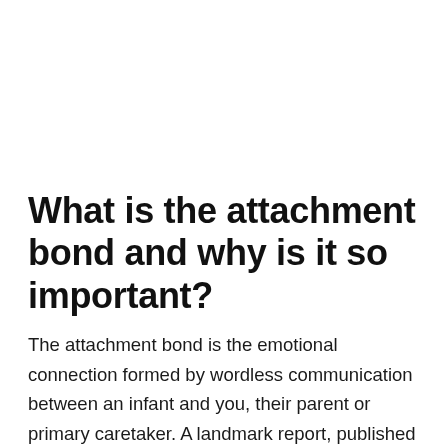What is the attachment bond and why is it so important?
The attachment bond is the emotional connection formed by wordless communication between an infant and you, their parent or primary caretaker. A landmark report, published in 2000 by The Committee on Integrating the Science of Early Childhood Development, identified how crucial the attachment bond is to a child's development. This form of communication affects the way your child develops mentally, physically,